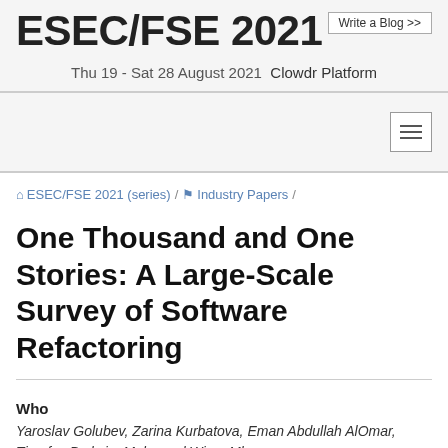ESEC/FSE 2021
Thu 19 - Sat 28 August 2021 Clowdr Platform
Write a Blog >>
ESEC/FSE 2021 (series) / Industry Papers /
One Thousand and One Stories: A Large-Scale Survey of Software Refactoring
Who
Yaroslav Golubev, Zarina Kurbatova, Eman Abdullah AlOmar, Timofey Bryksin, Mohamed Wiem Mkaouer,